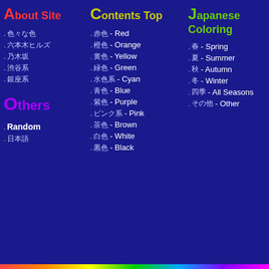About Site
. 色々な色 - (Japanese characters)
. 六本木ヒルズ
. 乃木坂
. 渋谷系
. 銀座系
Others
. Random
. 日本語
Contents Top
. 赤色 - Red
. 橙色 - Orange
. 黄色 - Yellow
. 緑色 - Green
. 水色系 - Cyan
. 青色 - Blue
. 紫色 - Purple
. ピンク系 - Pink
. 茶色 - Brown
. 白色 - White
. 黒色 - Black
Japanese Coloring
. 春 - Spring
. 夏 - Summer
. 秋 - Autumn
. 冬 - Winter
. 四季 - All Seasons
. その他 - Other